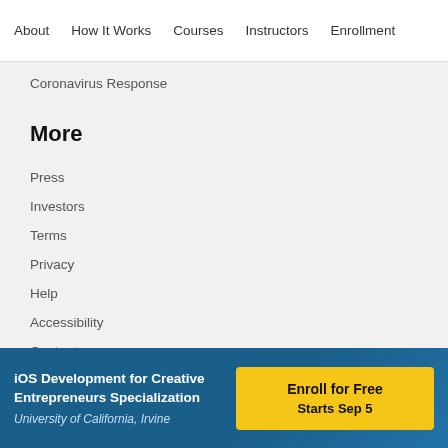About  How It Works  Courses  Instructors  Enrollment
Coronavirus Response
More
Press
Investors
Terms
Privacy
Help
Accessibility
Contact
iOS Development for Creative Entrepreneurs Specialization
University of California, Irvine
Enroll for Free
Starts Sep 5